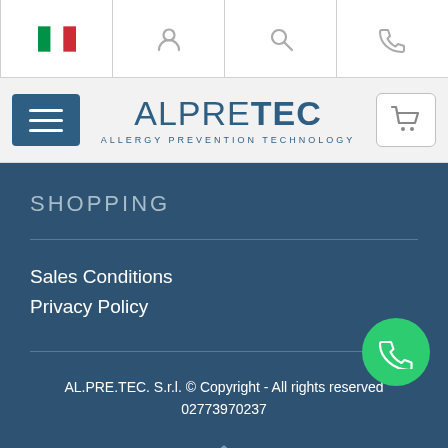[Figure (screenshot): Top navigation icon bar with Italian flag, user icon, search icon, and phone icon on white background]
[Figure (logo): ALPRETEC logo - Allergy Prevention Technology - with hamburger menu button and cart button on grey header bar]
SHOPPING
Sales Conditions
Privacy Policy
AL.PRE.TEC. S.r.l. © Copyright - All rights reserved 02773970237